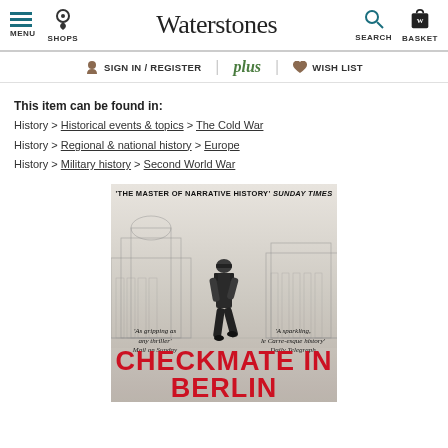Waterstones — MENU | SHOPS | SEARCH | BASKET
SIGN IN / REGISTER | plus | WISH LIST
This item can be found in:
History > Historical events & topics > The Cold War
History > Regional & national history > Europe
History > Military history > Second World War
[Figure (illustration): Book cover of 'Checkmate in Berlin' featuring a walking military officer against a sketched Berlin cityscape background, with quotes: 'The master of narrative history' Sunday Times, 'As gripping as any thriller' Mail on Sunday, 'A sparkling, le Carre-esque history' Daily Telegraph. Title in large red text at bottom.]